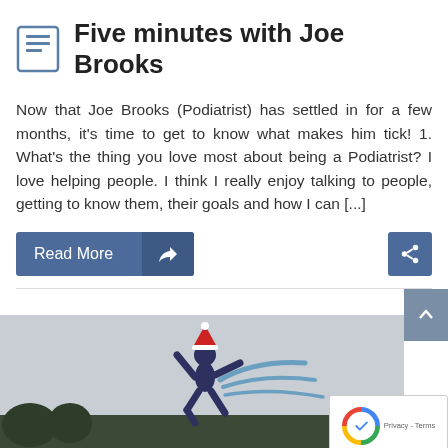Five minutes with Joe Brooks
Now that Joe Brooks (Podiatrist) has settled in for a few months, it's time to get to know what makes him tick! 1. What's the thing you love most about being a Podiatrist? I love helping people. I think I really enjoy talking to people, getting to know them, their goals and how I can [...]
[Figure (screenshot): Read More button with thumbs-up icon on the left, share button on the right]
[Figure (photo): Person leaping with arms spread, wearing a Santa hat, with blue swoosh lines behind them. reCAPTCHA badge in lower right corner.]